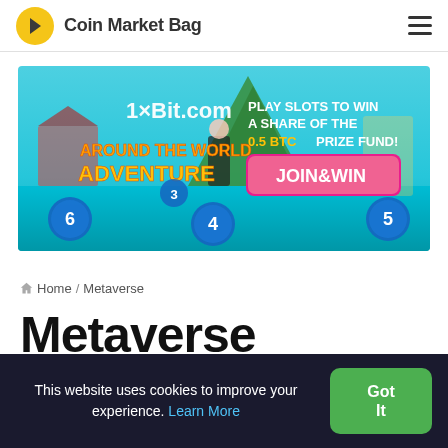Coin Market Bag
[Figure (illustration): 1xBit.com advertisement banner for 'Around the World Adventure' slot game promotion. Text reads: PLAY SLOTS TO WIN A SHARE OF THE 0.5 BTC PRIZE FUND! JOIN&WIN button shown in magenta. Numbers 3,4,5,6 visible as game levels.]
Home / Metaverse
Metaverse
This website uses cookies to improve your experience. Learn More